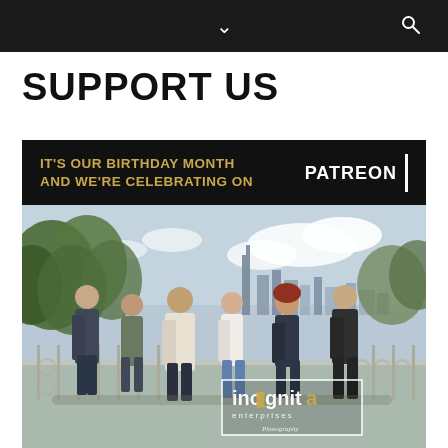Navigation bar with chevron/dropdown and search icon
SUPPORT US
[Figure (infographic): Banner with dark background reading: IT'S OUR BIRTHDAY MONTH AND WE'RE CELEBRATING ON PATREON with a vertical white bar divider]
[Figure (photo): Group of six people posing outdoors on a bridge/walkway with ornate iron railing, trees and city skyline in background. Incognita Enterprises logo overlaid in bottom right corner with photographer credit.]